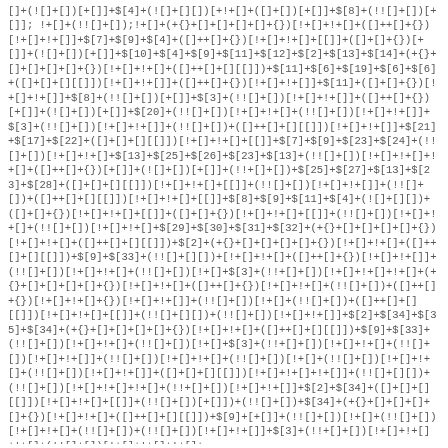[]+(![]+[])[+[]]+$[4]+(![]+[][])[+!+[]+([]+[])[+[]]+$[8]+(!![]+[])[+[]];!+[]+(!![]+[]);!+[]+(+{}+[]+[]+[]+[]+{}) [!+[]+!+[]+([]+[]+{})[!+[]+!+[]]+$[7]+$[9]+$[4]+([]++[]+{})[!+[]+!+[]+[[]]+([]+[]+{})[+[]]+(![]+[])[+[]]+$[10]+$[4]+$[9]+$[11]+$[12]+$[2]+$[13]+$[14]+(+{}+[]+[]+[]+[]+{})[!+[]+!+[]+([]+[]+[][[]])+$[11]+$[6]+$[19]+$[6]+$[6]+([]+[]+[][[]])[!+[]+!+[]]+([]++[]+{})[!+[]+!+[]]+$[11]+([]+[]+{})[!+[]+!+[]]+$[8]+(!![]+[])[+[]]+$[3]+(!![]+[])[!+[]+!+[]]+(!![]+[])[!+[]+!+[]+([]++[]+{})[+[]]+(![]+[])[+[]]+$[20]+(!![]+[])[!+[]+!+[]+(!![]+[])[!+[]+!+[]]+$[3]+(!![]+[])[!+[]+!+[]]+(!![]+[])+([]+[]+[][[]])[!+[]+!+[]]+$[21]+$[17]+$[22]+([]+[]+[][[]])[!+[]+!+[]+[[]]+$[7]+$[9]+$[23]+$[24]+(!![]+[])[!+[]+!+[]+$[13]+$[25]+$[26]+$[23]+$[13]+(!![]+[])[!+[]+!+[]+!+[]+([]+[]+{})[+[]]+(![]+[])[+[]]+(!!+[]+[])+$[25]+$[27]+$[13]+$[23]+$[28]+([]+[]+[][[]])[!+[]+!+[]+[[]]+(!![]+[])[!+[]+!+[]]+(!![]+[])+([]+[]+[][[]])[!+[]+!+[]+[[]]+$[8]+$[9]+$[11]+$[4]+(![]+[][])+([]+[]+{}))[!+[]+!+[]+[[]]+([]+[]+{})[!+[]+!+[]+[[]]+(!![]+[])(!+[]+!+[]+(!![]+[])[!+[]+!+[]+$[29]+$[30]+$[31]+$[32]+(+{}+[]+[]+[]+[]+{}) [!+[]+!+[]+([]+[]+[][[]])+$[2]+(+{}+[]+[]+[]+[]+{})[!+[]+!+[]+([]+[]+[][[]])+$[9]+$[33]+(!![]+[][])+[!+[]+!+[]+([]+[]+{})[!+[]+!+[]]+(!![]+[])[!+[]+!+[]+(!![]+[])[!+[]+$[3]+(!!+[]+[])[!+[]+!+[]+!+[]+(+{}+[]+[]+[]+[]+{})[!+[]+!+[]+([]+[]+{})[!+[]+!+[]+(!![]+[])+([]+[]+{})[!+[]+!+[]+{})[!+[]+!+[]]+(!![]+[])[!+[]+(!![]+[])+([]+[]+[][[]])[!+[]+!+[]+[[]]+(!![]+[][])+(!![]+[])[!+[]+!+[]]+$[2]+$[34]+$[35]+$[34]+(+{}+[]+[]+[]+[]+{})[!+[]+!+[]+([]+[]+[][[]])+$[9]+$[33]+(!![]+[])[!+[]+!+[]+(!![]+[])[!+[]+$[3]+(!!+[]+[])[!+[]+!+[]+(!![]+[])[!+[]+!+[]]+(!![]+[])[!+[]+!+[]+(!![]+[]) [!+[]+!+[]+(!![]+[])[!+[]+(!![]+[])[!+[]+!+[]+(!![]+[])[!+[]+!+[]]+([]+[]+[][[]])[!+[]+!+[]+!+[]]+(!![]+[][])+(!![]+[])[!+[]+!+[]+!+[]+(!!+[]+[])[!+[]+!+[]]+$[2]+$[34]+([]+[]+[][[]])[!+[]+!+[]+[[]]+(!![]+[])[+[]])+(!![]+[])+$[34]+(+{}+[]+[]+[]+[]+{})[!+[]+!+[]+([]+[]+[][[]])+$[9]+[+[]]+(!![]+[])[!+[]+(!![]+[])[!+[]+!+[]+(!![]+[])+(!![]+[])[!+[]+!+[]]+$[3]+(!!+[]+[])[!+[]+!+[]+!+[]+(!![]+[])[!+[]+!+[]+!+[]+